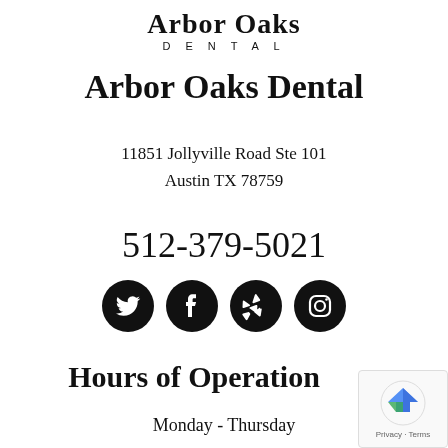Arbor Oaks DENTAL
Arbor Oaks Dental
11851 Jollyville Road Ste 101
Austin TX 78759
512-379-5021
[Figure (logo): Social media icons: Twitter, Facebook, Yelp, Instagram — black circles]
Hours of Operation
Monday - Thursday